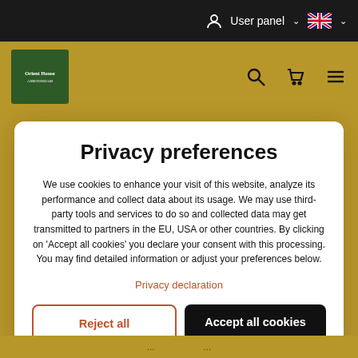User panel
[Figure (logo): Green square logo box for Orient House with gold header bar and navigation icons (search, cart, menu)]
Privacy preferences
We use cookies to enhance your visit of this website, analyze its performance and collect data about its usage. We may use third-party tools and services to do so and collected data may get transmitted to partners in the EU, USA or other countries. By clicking on 'Accept all cookies' you declare your consent with this processing. You may find detailed information or adjust your preferences below.
Privacy declaration
Reject all
Accept all cookies
Show details